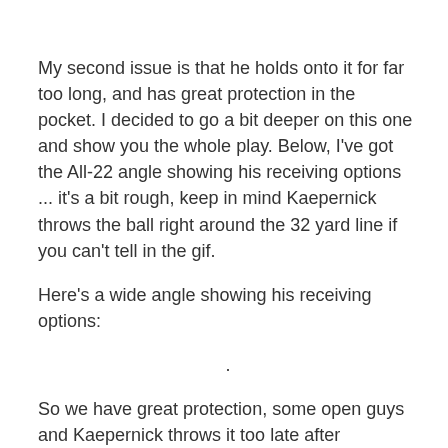My second issue is that he holds onto it for far too long, and has great protection in the pocket. I decided to go a bit deeper on this one and show you the whole play. Below, I've got the All-22 angle showing his receiving options ... it's a bit rough, keep in mind Kaepernick throws the ball right around the 32 yard line if you can't tell in the gif.
Here's a wide angle showing his receiving options:
.
So we have great protection, some open guys and Kaepernick throws it too late after unnecessarily